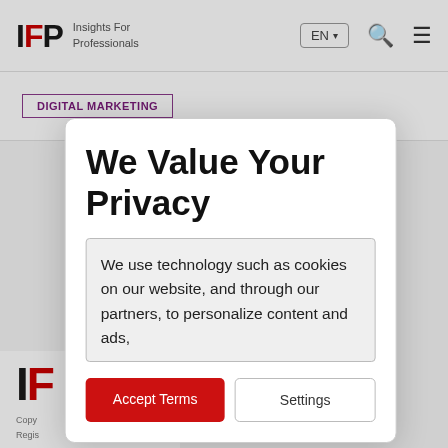IFP Insights For Professionals
DIGITAL MARKETING
We Value Your Privacy
We use technology such as cookies on our website, and through our partners, to personalize content and ads,
Accept Terms
Settings
IFP
Copy
Regis